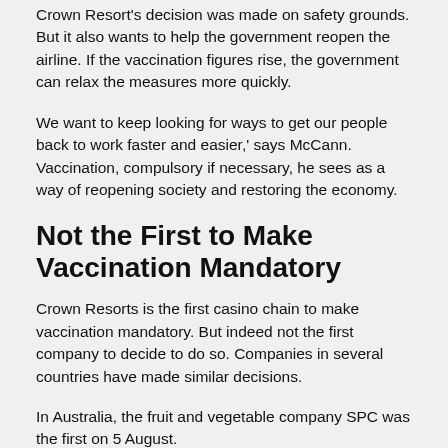Crown Resort's decision was made on safety grounds. But it also wants to help the government reopen the airline. If the vaccination figures rise, the government can relax the measures more quickly.
We want to keep looking for ways to get our people back to work faster and easier,' says McCann. Vaccination, compulsory if necessary, he sees as a way of reopening society and restoring the economy.
Not the First to Make Vaccination Mandatory
Crown Resorts is the first casino chain to make vaccination mandatory. But indeed not the first company to decide to do so. Companies in several countries have made similar decisions.
In Australia, the fruit and vegetable company SPC was the first on 5 August.
On 28 June, the government had already made vaccination